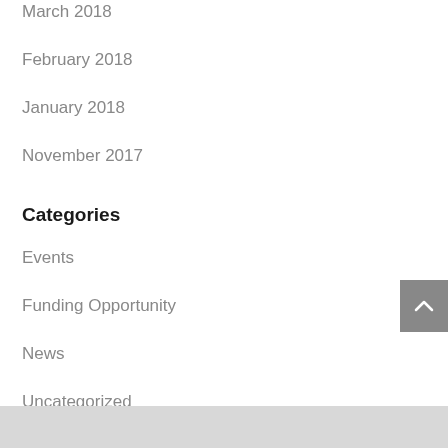March 2018
February 2018
January 2018
November 2017
Categories
Events
Funding Opportunity
News
Uncategorized